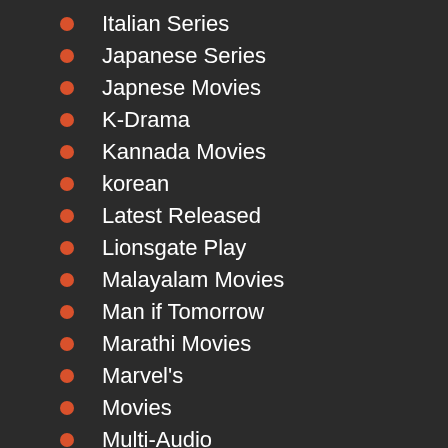Italian Series
Japanese Series
Japnese Movies
K-Drama
Kannada Movies
korean
Latest Released
Lionsgate Play
Malayalam Movies
Man if Tomorrow
Marathi Movies
Marvel's
Movies
Multi-Audio
Musical
Musical Series
MX ORG
Mystery
Mystery Series